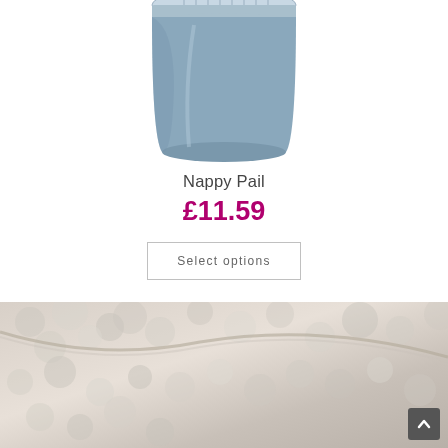[Figure (photo): A blue cylindrical nappy pail with a vented lid, photographed from above and slightly to the side against a white background.]
Nappy Pail
£11.59
Select options
[Figure (photo): Close-up photo of a soft white fluffy fabric or textile, possibly a baby blanket or fleece material.]